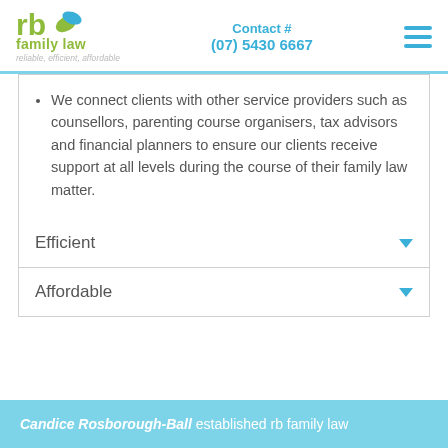[Figure (logo): rb family law logo with green leaf icon and tagline 'reliable, efficient, affordable']
Contact # (07) 5430 6667
We connect clients with other service providers such as counsellors, parenting course organisers, tax advisors and financial planners to ensure our clients receive support at all levels during the course of their family law matter.
Efficient
Affordable
Candice Rosborough-Ball established rb family law